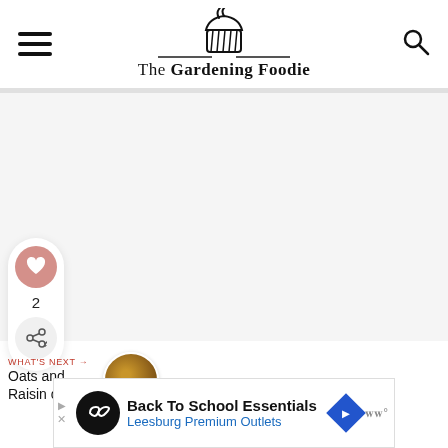The Gardening Foodie
[Figure (illustration): Cupcake icon logo for The Gardening Foodie website]
[Figure (infographic): Heart like button with count 2 and share button sidebar]
2
WHAT'S NEXT → Oats and Raisin cooki...
[Figure (photo): Thumbnail image of Oats and Raisin cookies]
[Figure (screenshot): Ad banner: Back To School Essentials - Leesburg Premium Outlets]